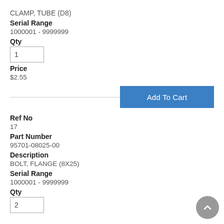CLAMP, TUBE (D8)
Serial Range
1000001 - 9999999
Qty
1
Price
$2.55
Ref No
17
Part Number
95701-08025-00
Description
BOLT, FLANGE (8X25)
Serial Range
1000001 - 9999999
Qty
2